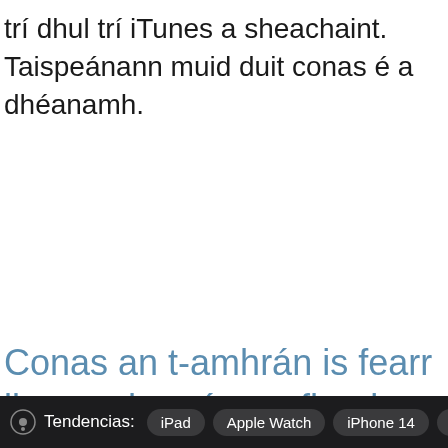trí dhul trí iTunes a sheachaint. Taispeánann muid duit conas é a dhéanamh.
Conas an t-amhrán is fearr liom a shocrú mar fhuaim aláraim ar
Tendencias: iPad  Apple Watch  iPhone 14  iC